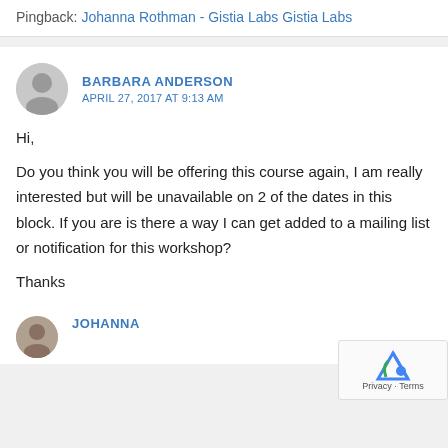Pingback: Johanna Rothman - Gistia Labs Gistia Labs
BARBARA ANDERSON
APRIL 27, 2017 AT 9:13 AM
Hi,

Do you think you will be offering this course again, I am really interested but will be unavailable on 2 of the dates in this block. If you are is there a way I can get added to a mailing list or notification for this workshop?

Thanks
JOHANNA